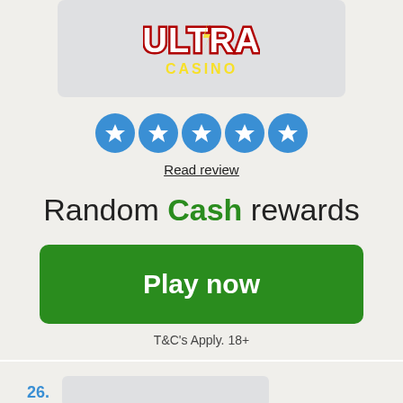[Figure (logo): Ultra Casino logo with stylized text 'ULTRA' in bold white letters with red and black outline and lightning bolt, and 'CASINO' in yellow text below, on a light grey rounded rectangle background]
[Figure (other): Five blue circular star rating icons in a row]
Read review
Random Cash rewards
Play now
T&C's Apply. 18+
26.